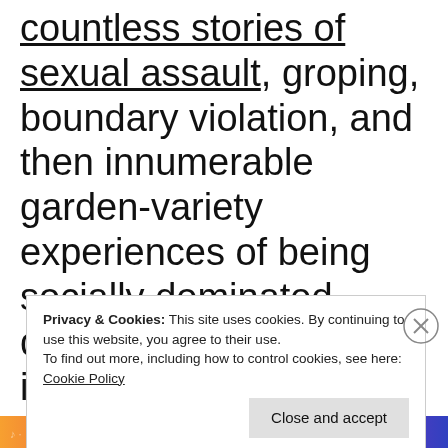countless stories of sexual assault, groping, boundary violation, and then innumerable garden-variety experiences of being socially dominated, discredited, talked over, invalidated, objectified, 'splained to, and patronized, it does beg the question of: If not you, Sir,
Privacy & Cookies: This site uses cookies. By continuing to use this website, you agree to their use. To find out more, including how to control cookies, see here: Cookie Policy
Close and accept